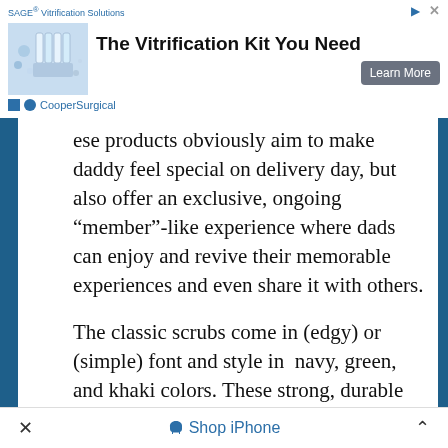[Figure (screenshot): Advertisement banner for SAGE Vitrification Solutions - CooperSurgical, featuring product image and 'The Vitrification Kit You Need' headline with a Learn More button]
ese products obviously aim to make daddy feel special on delivery day, but also offer an exclusive, ongoing “member”-like experience where dads can enjoy and revive their memorable experiences and even share it with others.
The classic scrubs come in (edgy) or (simple) font and style in  navy, green, and khaki colors. These strong, durable clothes create a great way to get men more involved in the experience while maybe even entertaining the hospital staff while making the dad easily identifiable.
X   Shop iPhone   ^